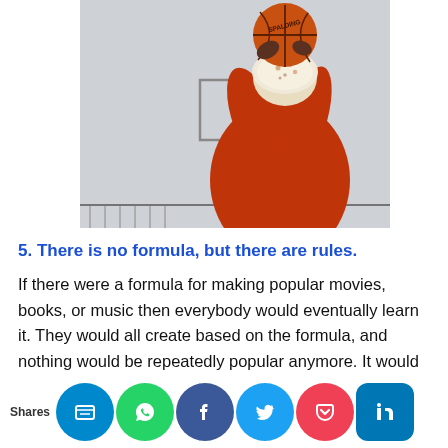[Figure (photo): A person wearing a red jacket and patterned cap, seen from behind, holding a Spalding basketball above their head as if about to shoot, with a basketball hoop and backboard visible in the background against a grey sky.]
5. There is no formula, but there are rules.
If there were a formula for making popular movies, books, or music then everybody would eventually learn it. They would all create based on the formula, and nothing would be repeatedly popular anymore. It would eventually make coexistence or competition impossible
Shares [social sharing icons: SMS, WhatsApp, Facebook, Twitter, Pocket, LinkedIn]